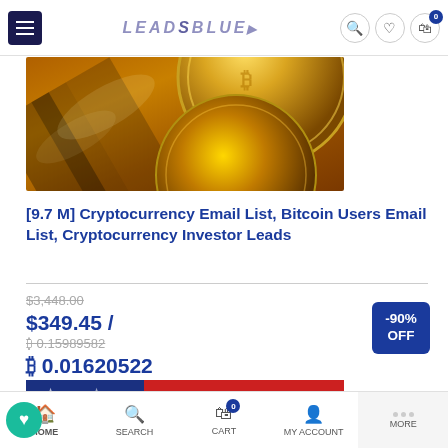LEADSBLUE
[Figure (photo): Close-up photo of shiny gold Bitcoin coins with warm golden light reflections]
[9.7 M] Cryptocurrency Email List, Bitcoin Users Email List, Cryptocurrency Investor Leads
$3,448.00
$349.45 / ₿ 0.15989582
₿ 0.01620522
-90% OFF
[Figure (photo): Bottom strip showing partial American flag with blue and red sections and stars]
HOME  SEARCH  CART  MY ACCOUNT  MORE